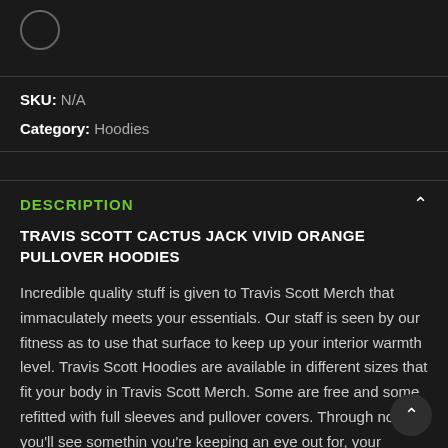[Figure (other): Circle icon / avatar placeholder at top left]
SKU: N/A
Category: Hoodies
DESCRIPTION
TRAVIS SCOTT CACTUS JACK VIVID ORANGE PULLOVER HOODIES
Incredible quality stuff is given to Travis Scott Merch that immaculately meets your essentials. Our staff is seen by our fitness as to use that surface to keep up your interior warmth level. Travis Scott Hoodies are available in different sizes that fit your body in Travis Scott Merch. Some are free and some refitted with full sleeves and pullover covers. Through now, you'll see somethin you're keeping an eye out for, your Goliath, to find it on Travis Scott